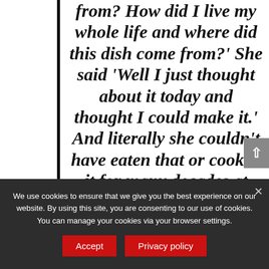from? How did I live my whole life and where did this dish come from?' She said 'Well I just thought about it today and thought I could make it.' And literally she couldn't have eaten that or cooked it for many decades at that point. Just seeing that in our own home showed me there are
We use cookies to ensure that we give you the best experience on our website. By using this site, you are consenting to our use of cookies. You can manage your cookies via your browser settings.